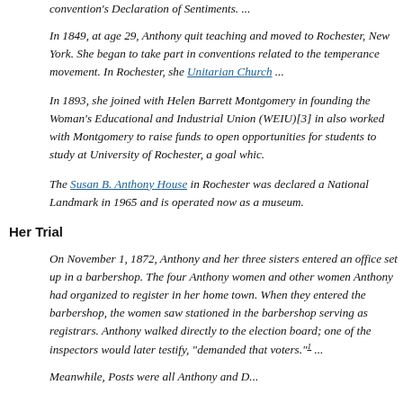convention's Declaration of Sentiments. ...
In 1849, at age 29, Anthony quit teaching and moved to Rochester, New York. She began to take part in conventions related to the temperance movement. In Rochester, she Unitarian Church ...
In 1893, she joined with Helen Barrett Montgomery in founding the Woman's Educational and Industrial Union (WEIU)[3] in also worked with Montgomery to raise funds to open opportunities for students to study at University of Rochester, a goal whic.
The Susan B. Anthony House in Rochester was declared a National Landmark in 1965 and is operated now as a museum.
Her Trial
On November 1, 1872, Anthony and her three sisters entered the office set up in a barbershop. The four Anthony women and other women Anthony had organized to register in her home town. When they entered the barbershop, the women saw stationed in the barbershop serving as registrars. Anthony walked directly to the election board; one of the inspectors would later testify, "demanded that voters."1 ...
Meanwhile, Posts were all Anthony and D...